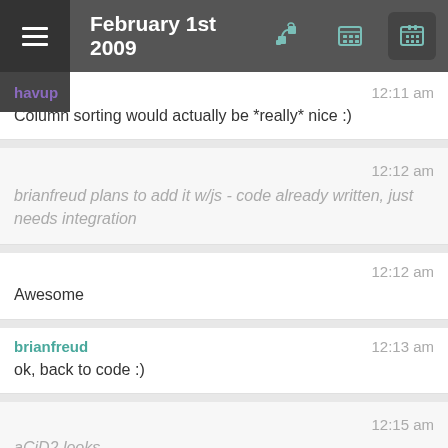February 1st 2009
havup
12:11 am
Column sorting would actually be *really* nice :)
brianfreud plans to add it w/js - code already written, just needs integration
12:12 am
Awesome
12:12 am
brianfreud
12:13 am
ok, back to code :)
aCiD2 looks
12:15 am
Samuel-No...
12:15 am
Picard keeps incorrectly tagging my music. :(